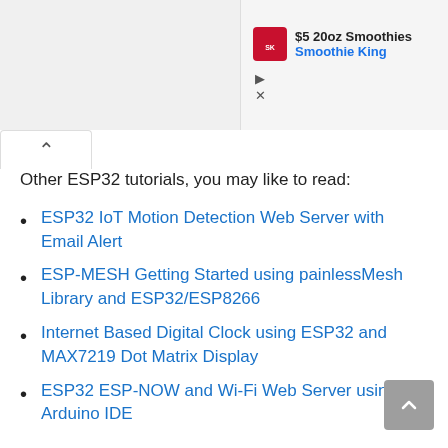[Figure (screenshot): Advertisement banner for Smoothie King showing logo, '$5 20oz Smoothies' text, and 'Smoothie King' subtitle in blue]
Other ESP32 tutorials, you may like to read:
ESP32 IoT Motion Detection Web Server with Email Alert
ESP-MESH Getting Started using painlessMesh Library and ESP32/ESP8266
Internet Based Digital Clock using ESP32 and MAX7219 Dot Matrix Display
ESP32 ESP-NOW and Wi-Fi Web Server using Arduino IDE